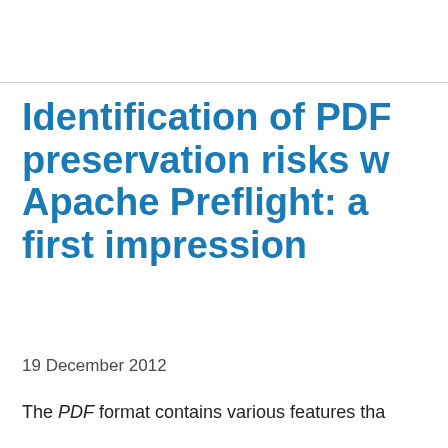Identification of PDF preservation risks with Apache Preflight: a first impression
19 December 2012
The PDF format contains various features tha